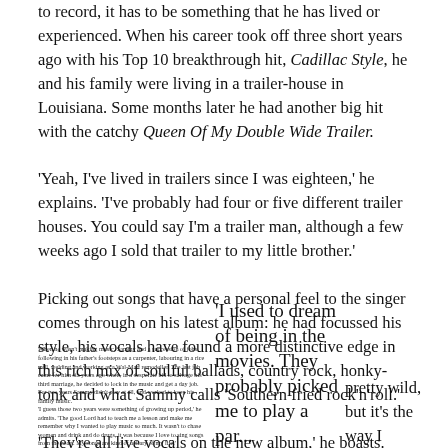to record, it has to be something that he has lived or experienced. When his career took off three short years ago with his Top 10 breakthrough hit, Cadillac Style, he and his family were living in a trailer-house in Louisiana. Some months later he had another big hit with the catchy Queen Of My Double Wide Trailer.
'Yeah, I've lived in trailers since I was eighteen,' he explains. 'I've probably had four or five different trailer houses. You could say I'm a trailer man, although a few weeks ago I sold that trailer to my little brother.'
Picking out songs that have a personal feel to the singer comes through on his latest album: he had focussed his style, his vocals have found a more distinctive edge in this rich mix of soulful ballads, country rock, honky-tonk and what Sammy calls 'Southern fried rock'n'roll.'
'They're all live vocals on the new album,' he boasts. 'That's
When he wasn't making music, Sammy had a succession of jobs following in his father's footsteps as a carpenter, labouring in a rice mill, welding and working as a Wal-Mart remodeller. The last job came for him six years ago when, in a desperate bid to salvage his third marriage, he decided to lock in the music and get a day job. For two years Sammy didn't play at all, and worked to keep his family music. 'I guess those two years were something of growing up period,' he admits. 'The good Lord had to teach me a lesson and make me remember why I wanted to play music so much. It wasn't to chase women and drink and do drugs, it was because I love to sing songs from the heart. My songs are kind of a diary of my life.'
'I used to dream of being in the movies. They probably picked me to play a par...
pretty wild, but it's the way I